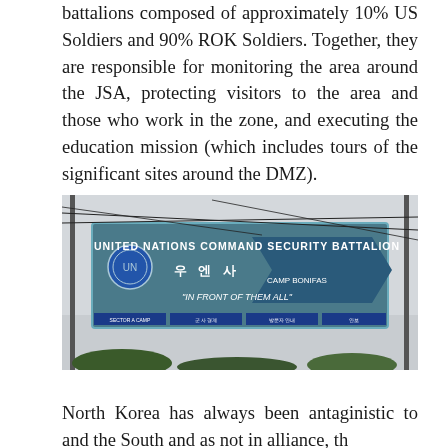battalions composed of approximately 10% US Soldiers and 90% ROK Soldiers. Together, they are responsible for monitoring the area around the JSA, protecting visitors to the area and those who work in the zone, and executing the education mission (which includes tours of the significant sites around the DMZ).
[Figure (photo): Photograph of a large blue sign reading 'UNITED NATIONS COMMAND SECURITY BATTALION' with Korean text '우 엔 사', 'CAMP BONIFAS', and 'IN FRONT OF THEM ALL' with smaller informational signs below, utility poles with wires visible in background.]
North Korea has always been antaginistic to and the South and as not in alliance, th...